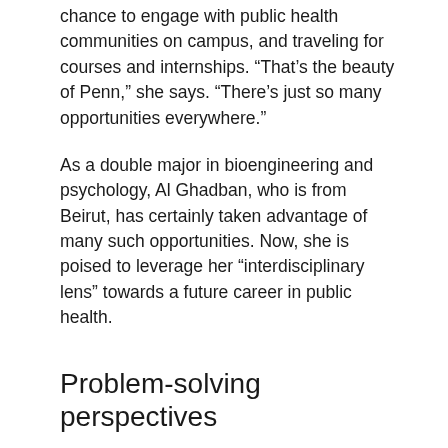chance to engage with public health communities on campus, and traveling for courses and internships. “That’s the beauty of Penn,” she says. “There’s just so many opportunities everywhere.”
As a double major in bioengineering and psychology, Al Ghadban, who is from Beirut, has certainly taken advantage of many such opportunities. Now, she is poised to leverage her “interdisciplinary lens” towards a future career in public health.
Problem-solving perspectives
Looking for a place to grow and become more independent, Al Ghadban decided to come to Penn after graduating from the International College in Lebanon. After taking an introduction to bioengineering course during her freshman year, she became enthralled by the